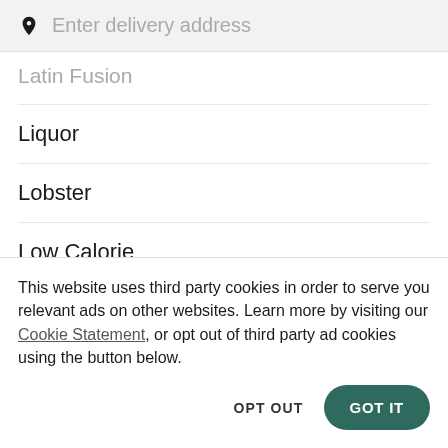[Figure (other): Search bar with location pin icon and placeholder text 'Enter delivery address']
Latin Fusion
Liquor
Lobster
Low Calorie
Low Carb
Mac And Che... (partially visible)
This website uses third party cookies in order to serve you relevant ads on other websites. Learn more by visiting our Cookie Statement, or opt out of third party ad cookies using the button below.
OPT OUT
GOT IT